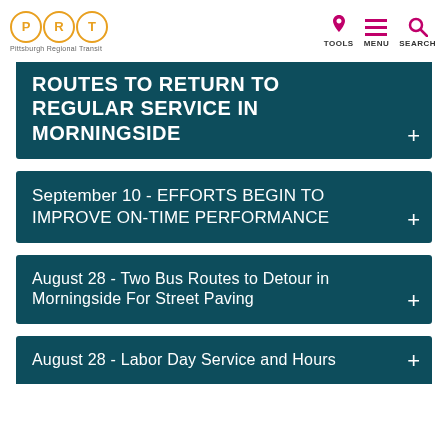Pittsburgh Regional Transit - PRT logo with TOOLS, MENU, SEARCH navigation
ROUTES TO RETURN TO REGULAR SERVICE IN MORNINGSIDE
September 10 - EFFORTS BEGIN TO IMPROVE ON-TIME PERFORMANCE
August 28 - Two Bus Routes to Detour in Morningside For Street Paving
August 28 - Labor Day Service and Hours